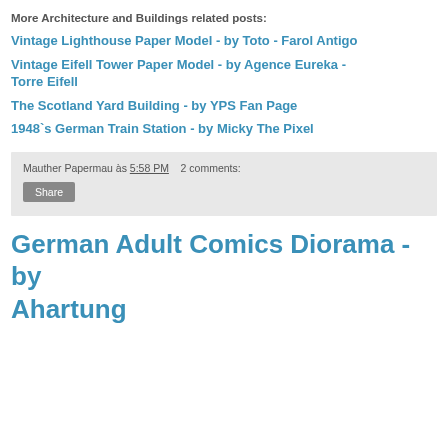More Architecture and Buildings related posts:
Vintage Lighthouse Paper Model - by Toto - Farol Antigo
Vintage Eifell Tower Paper Model - by Agence Eureka - Torre Eifell
The Scotland Yard Building - by YPS Fan Page
1948`s German Train Station - by Micky The Pixel
Mauther Papermau às 5:58 PM   2 comments:
Share
German Adult Comics Diorama - by Ahartung